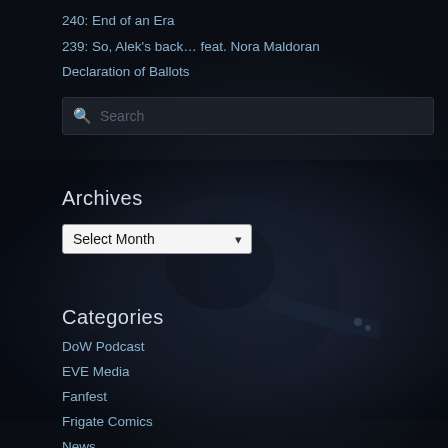240: End of an Era
239: So, Alek's back… feat. Nora Maldoran
Declaration of Ballots
[Figure (photo): Dark sci-fi background image with a mechanical/armor figure in low lighting]
Archives
Select Month (dropdown)
Categories
DoW Podcast
EVE Media
Fanfest
Frigate Comics
News